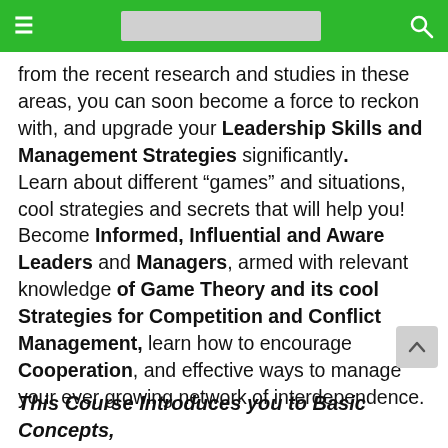from the recent research and studies in these areas, you can soon become a force to reckon with, and upgrade your Leadership Skills and Management Strategies significantly. Learn about different “games” and situations, cool strategies and secrets that will help you! Become Informed, Influential and Aware Leaders and Managers, armed with relevant knowledge of Game Theory and its cool Strategies for Competition and Conflict Management, learn how to encourage Cooperation, and effective ways to manage your ever growing network of interdependence.
This Course Introduces you to Basic Concepts,